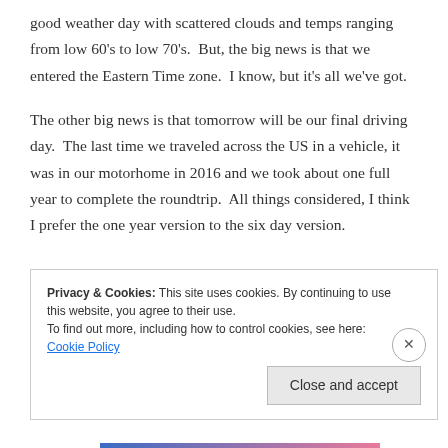good weather day with scattered clouds and temps ranging from low 60's to low 70's.  But, the big news is that we entered the Eastern Time zone.  I know, but it's all we've got.
The other big news is that tomorrow will be our final driving day.  The last time we traveled across the US in a vehicle, it was in our motorhome in 2016 and we took about one full year to complete the roundtrip.  All things considered, I think I prefer the one year version to the six day version.
Privacy & Cookies: This site uses cookies. By continuing to use this website, you agree to their use.
To find out more, including how to control cookies, see here: Cookie Policy
Close and accept